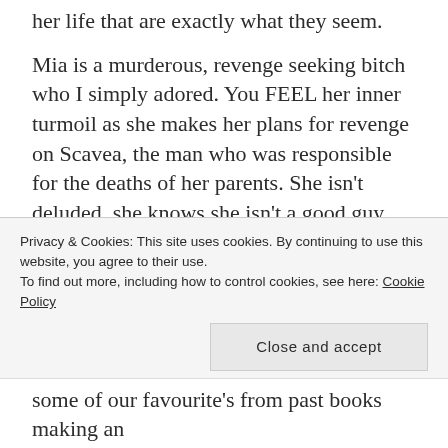her life that are exactly what they seem.
Mia is a murderous, revenge seeking bitch who I simply adored. You FEEL her inner turmoil as she makes her plans for revenge on Scavea, the man who was responsible for the deaths of her parents. She isn't deluded, she knows she isn't a good guy, that being as assassin will surely end with her dead, but she also knows that like draws to like and it will take someone with loose, if not nonexistent morals to bring down the true evil in this series. You so want her to get a happy ending, but as the author states in the first chapter of Nevernight, this isn't a Happy ending
Privacy & Cookies: This site uses cookies. By continuing to use this website, you agree to their use.
To find out more, including how to control cookies, see here: Cookie Policy
some of our favourite's from past books making an